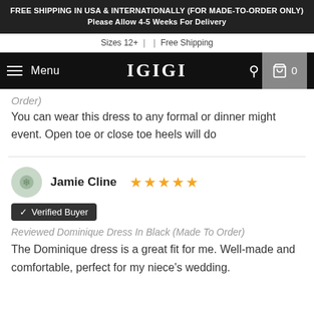FREE SHIPPING IN USA & INTERNATIONALLY (FOR MADE-TO-ORDER ONLY) Please Allow 4-5 Weeks For Delivery
Sizes 12+  |  |  Free Shipping
Menu  IGIGI  0
Order)
You can wear this dress to any formal or dinner might event. Open toe or close toe heels will do
Jamie Cline  ★★★★★
✔ Verified Buyer
Reviewed Dominique Dress In Black (Made To Order)
The Dominique dress is a great fit for me. Well-made and comfortable, perfect for my niece's wedding.